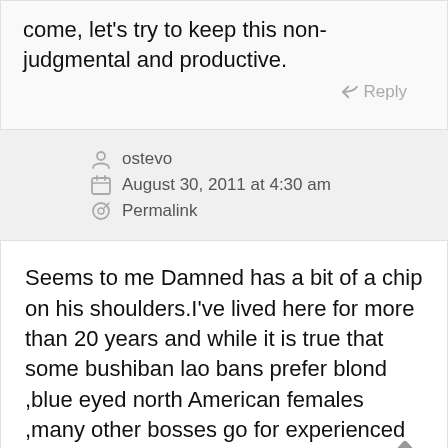come, let's try to keep this non-judgmental and productive.
Reply
ostevo
August 30, 2011 at 4:30 am
Permalink
Seems to me Damned has a bit of a chip on his shoulders.I've lived here for more than 20 years and while it is true that some bushiban lao bans prefer blond ,blue eyed north American females ,many other bosses go for experienced teachers.I have a British accent and am